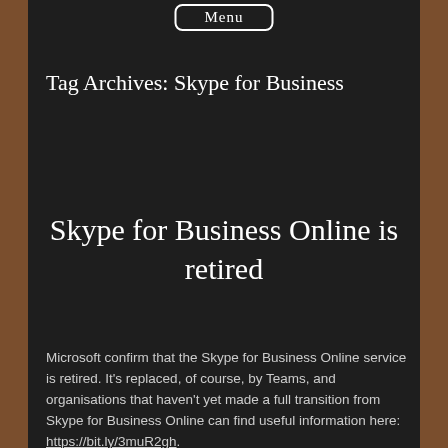Menu
Tag Archives: Skype for Business
Skype for Business Online is retired
Microsoft confirm that the Skype for Business Online service is retired. It's replaced, of course, by Teams, and organisations that haven't yet made a full transition from Skype for Business Online can find useful information here: https://bit.ly/3muR2gh.